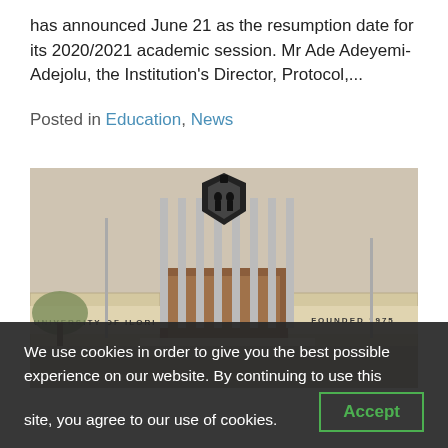has announced June 21 as the resumption date for its 2020/2021 academic session. Mr Ade Adeyemi-Adejolu, the Institution's Director, Protocol,...
Posted in Education, News
[Figure (photo): University of Ilorin gate entrance showing the university crest/logo on vertical pillars, with signage reading 'UNIVERSITY OF ILORIN' and 'FOUNDED 1975']
We use cookies in order to give you the best possible experience on our website. By continuing to use this site, you agree to our use of cookies.